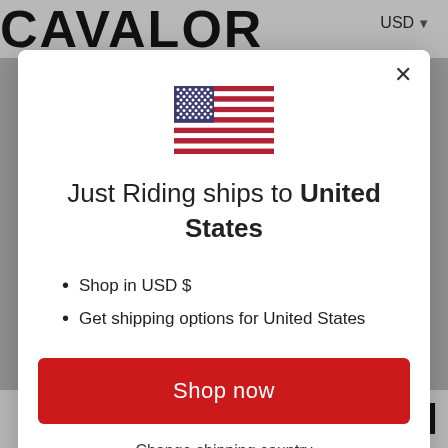CAVALOR   USD
[Figure (illustration): US flag emoji/icon centered in modal]
Just Riding ships to United States
Shop in USD $
Get shipping options for United States
Shop now
Change shipping country
MUSCLE MOTION